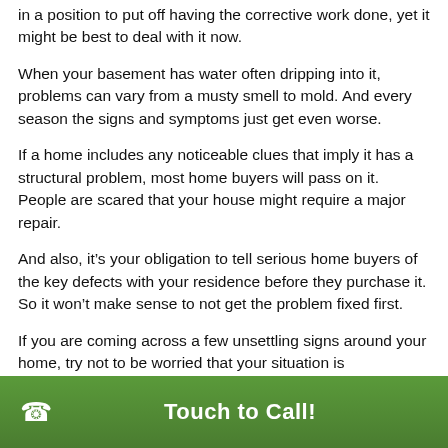in a position to put off having the corrective work done, yet it might be best to deal with it now.
When your basement has water often dripping into it, problems can vary from a musty smell to mold. And every season the signs and symptoms just get even worse.
If a home includes any noticeable clues that imply it has a structural problem, most home buyers will pass on it. People are scared that your house might require a major repair.
And also, it’s your obligation to tell serious home buyers of the key defects with your residence before they purchase it. So it won’t make sense to not get the problem fixed first.
If you are coming across a few unsettling signs around your home, try not to be worried that your situation is
Touch to Call!